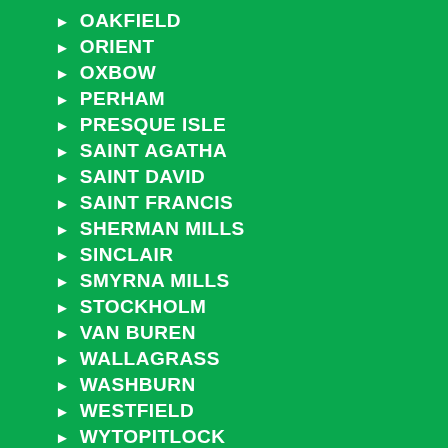OAKFIELD
ORIENT
OXBOW
PERHAM
PRESQUE ISLE
SAINT AGATHA
SAINT DAVID
SAINT FRANCIS
SHERMAN MILLS
SINCLAIR
SMYRNA MILLS
STOCKHOLM
VAN BUREN
WALLAGRASS
WASHBURN
WESTFIELD
WYTOPITLOCK
CUMBERLAND, MAINE
BAILEY ISLAND
BRIDGTON
BRUNSWICK